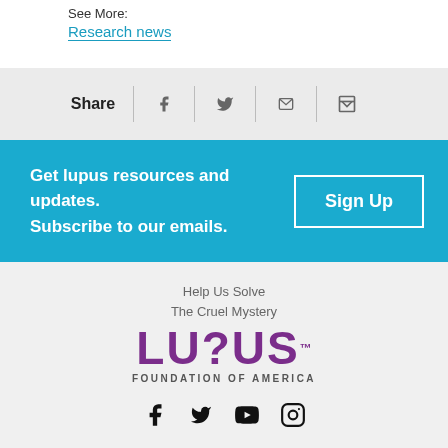See More:
Research news
Share
[Figure (infographic): Share bar with Facebook, Twitter, email, and print icons]
Get lupus resources and updates. Subscribe to our emails.
Sign Up
[Figure (logo): Lupus Foundation of America logo with tagline 'Help Us Solve The Cruel Mystery' and social media icons for Facebook, Twitter, YouTube, and Instagram]